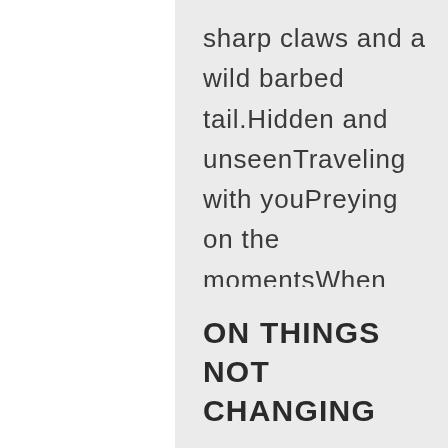sharp claws and a wild barbed tail.Hidden and unseenTraveling with youPreying on the momentsWhen you have a respiteWith flashes of...
ON THINGS NOT CHANGING